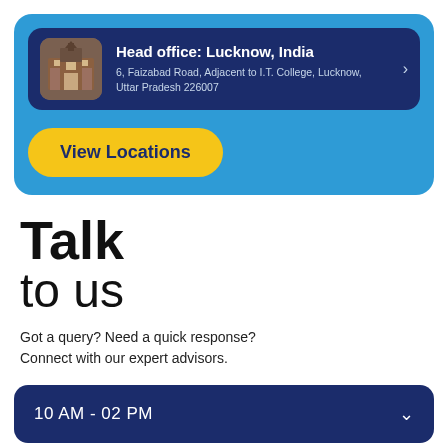[Figure (screenshot): Blue card with dark navy location box showing a building photo thumbnail, Head office: Lucknow, India with address, and a yellow View Locations button]
Talk
to us
Got a query? Need a quick response? Connect with our expert advisors.
10 AM - 02 PM
Name*